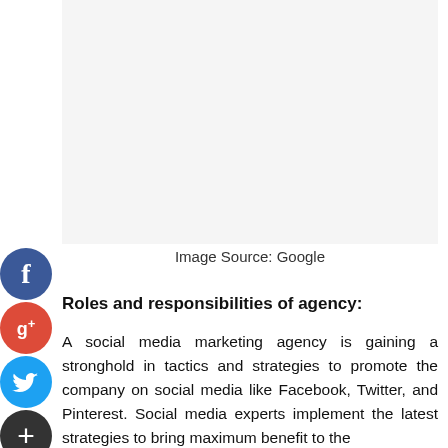[Figure (photo): Large blank/white image placeholder area at top of page]
Image Source: Google
Roles and responsibilities of agency:
A social media marketing agency is gaining a stronghold in tactics and strategies to promote the company on social media like Facebook, Twitter, and Pinterest. Social media experts implement the latest strategies to bring maximum benefit to the